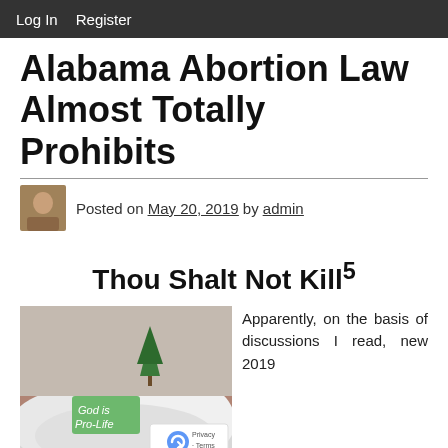Log In  Register
Alabama Abortion Law Almost Totally Prohibits
Posted on May 20, 2019 by admin
Thou Shalt Not Kill5
[Figure (photo): Outdoor scene with snow on the ground and a green sign reading 'God is Pro-Life' with a small evergreen tree nearby]
Apparently, on the basis of discussions I read, new 2019